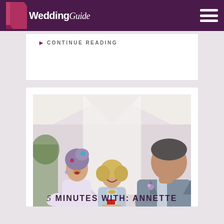Wedding Guide
CONTINUE READING
[Figure (photo): Wedding ceremony photo showing a bride with purple hair and floral accessories laughing joyfully, a smiling officiant in the center holding a book, and a groom in a grey suit on the right, all inside a white tent venue]
5 MINUTES WITH: ANNETTE